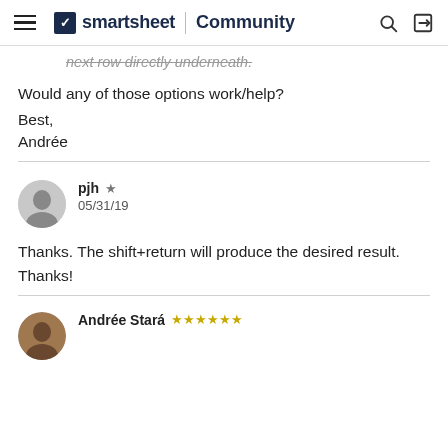smartsheet | Community
next row directly underneath.
Would any of those options work/help?
Best,
Andrée
pjh ★ 05/31/19
Thanks. The shift+return will produce the desired result. Thanks!
Andrée Stará ★★★★★★